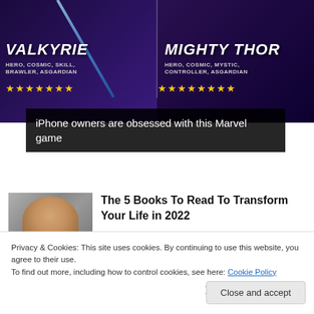[Figure (screenshot): Marvel game advertisement showing two characters: Valkyrie (Hero, Cosmic, Skill, Brawler, Asgardian) and Mighty Thor (Hero, Cosmic, Mystic, Controller, Asgardian) with star ratings below each.]
iPhone owners are obsessed with this Marvel game
[Figure (photo): Thumbnail photo of a person's head/face, partially visible, used as article illustration.]
The 5 Books To Read To Transform Your Life in 2022
Privacy & Cookies: This site uses cookies. By continuing to use this website, you agree to their use.
To find out more, including how to control cookies, see here: Cookie Policy
Close and accept